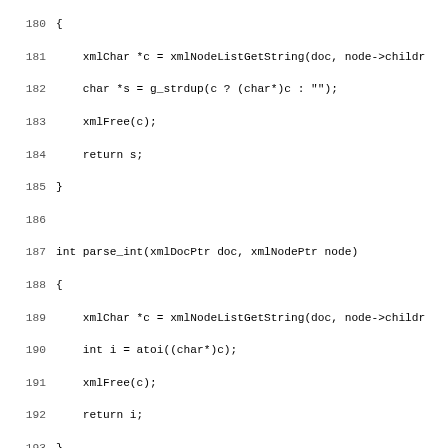Source code listing showing C functions parse_string, parse_int, parse_bool, and parse_contains using libxml2 APIs, lines 180-211.